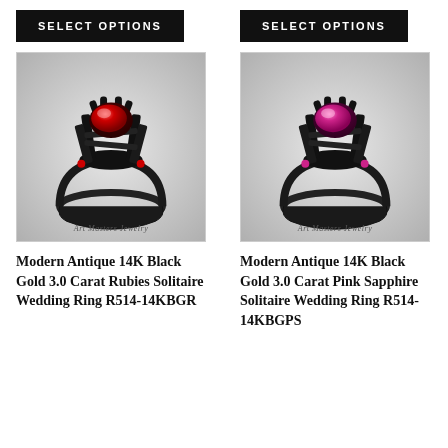SELECT OPTIONS
SELECT OPTIONS
[Figure (photo): Black gold ring with red ruby solitaire gemstone, ornate black setting, Art Masters Jewelry watermark]
[Figure (photo): Black gold ring with pink sapphire solitaire gemstone, ornate black setting, Art Masters Jewelry watermark]
Modern Antique 14K Black Gold 3.0 Carat Rubies Solitaire Wedding Ring R514-14KBGR
Modern Antique 14K Black Gold 3.0 Carat Pink Sapphire Solitaire Wedding Ring R514-14KBGPS